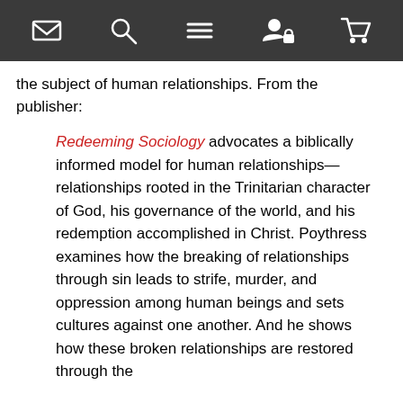[navigation bar with icons: envelope, search, menu, user/lock, cart]
the subject of human relationships. From the publisher:
Redeeming Sociology advocates a biblically informed model for human relationships—relationships rooted in the Trinitarian character of God, his governance of the world, and his redemption accomplished in Christ. Poythress examines how the breaking of relationships through sin leads to strife, murder, and oppression among human beings and sets cultures against one another. And he shows how these broken relationships are restored through the